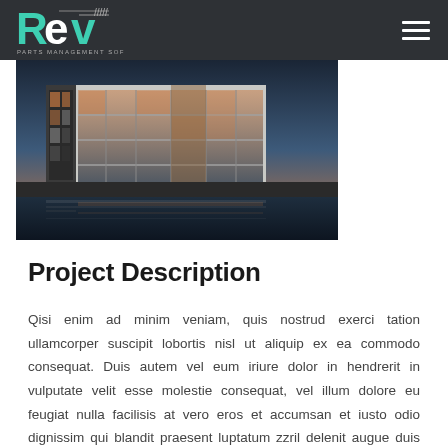Rev Parts Management Software
[Figure (photo): Modern architectural building with large glass windows and reflections in water, photographed at dusk/twilight]
Project Description
Qisi enim ad minim veniam, quis nostrud exerci tation ullamcorper suscipit lobortis nisl ut aliquip ex ea commodo consequat. Duis autem vel eum iriure dolor in hendrerit in vulputate velit esse molestie consequat, vel illum dolore eu feugiat nulla facilisis at vero eros et accumsan et iusto odio dignissim qui blandit praesent luptatum zzril delenit augue duis dolore te feugait nulla